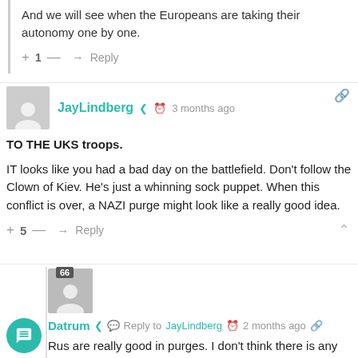And we will see when the Europeans are taking their autonomy one by one.
+ 1 — → Reply
JayLindberg  3 months ago
TO THE UKS troops.
IT looks like you had a bad day on the battlefield. Don't follow the Clown of Kiev. He's just a whinning sock puppet. When this conflict is over, a NAZI purge might look like a really good idea.
+ 5 — → Reply
Datrum  Reply to JayLindberg  2 months ago
Rus are really good in purges. I don't think there is any need to